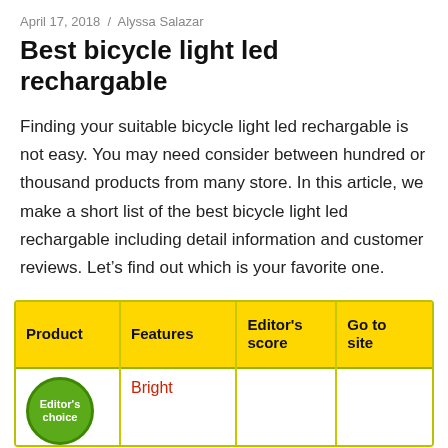April 17, 2018 / Alyssa Salazar
Best bicycle light led rechargable
Finding your suitable bicycle light led rechargable is not easy. You may need consider between hundred or thousand products from many store. In this article, we make a short list of the best bicycle light led rechargable including detail information and customer reviews. Let’s find out which is your favorite one.
| Product | Features | Editor's score | Go to site |
| --- | --- | --- | --- |
| Editor's choice [badge] | Bright |  |  |